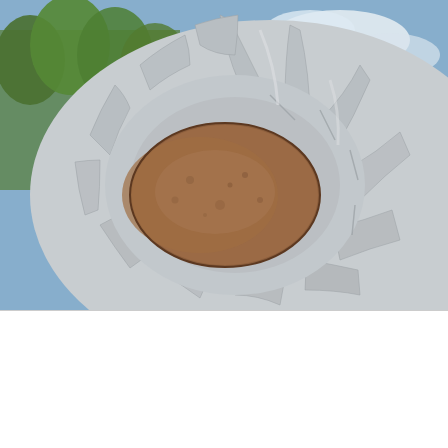[Figure (photo): Close-up photograph of a large industrial turbine runner (Pelton or Kaplan type) with curved metallic blades arranged radially. The central hub shows a rusty/copper-colored oval runner cup. Background shows blue sky with white clouds and trees, with industrial structure visible at right.]
We use cookies to enhance your experience.
Read more
Accept